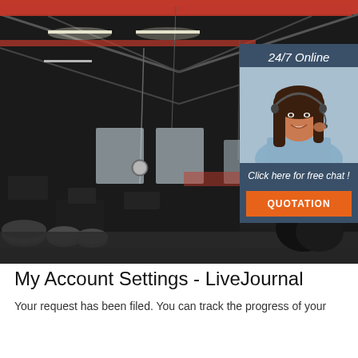[Figure (photo): Interior of a large industrial factory/warehouse with overhead red crane beams, fluorescent lighting, heavy machinery and metal rolls/coils on the floor, dark industrial space]
[Figure (infographic): Chat widget overlay showing '24/7 Online' header, a smiling woman with headset, 'Click here for free chat!' text, and an orange QUOTATION button]
My Account Settings - LiveJournal
Your request has been filed. You can track the progress of your